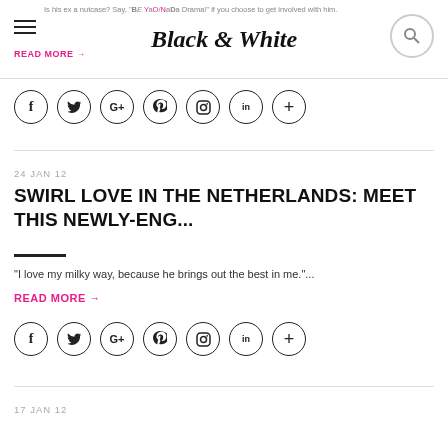Black & White
Is his ex a nutcase? Say, "BEYOND a Drama!" if you choose to get involved with him.
READ MORE →
[Figure (other): Social sharing icons row: Facebook, Twitter, Google+, Pinterest, Instagram, LinkedIn, Plus]
24 JAN 12
SWIRL LOVE IN THE NETHERLANDS: MEET THIS NEWLY-ENG...
"I love my milky way, because he brings out the best in me."...
READ MORE →
[Figure (other): Social sharing icons row: Facebook, Twitter, Google+, Pinterest, Instagram, LinkedIn, Plus]
17 JAN 12